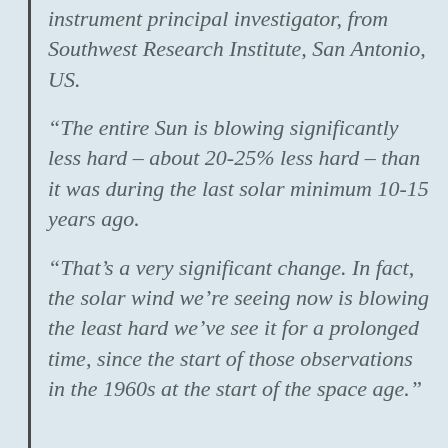instrument principal investigator, from Southwest Research Institute, San Antonio, US.
“The entire Sun is blowing significantly less hard – about 20-25% less hard – than it was during the last solar minimum 10-15 years ago.
“That’s a very significant change. In fact, the solar wind we’re seeing now is blowing the least hard we’ve see it for a prolonged time, since the start of those observations in the 1960s at the start of the space age.”